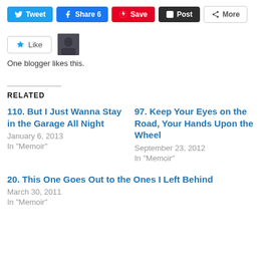[Figure (screenshot): Social sharing buttons: Tweet, Share 6, Save, Post, More]
[Figure (screenshot): Like button with star icon and a small blogger avatar thumbnail]
One blogger likes this.
RELATED
110. But I Just Wanna Stay in the Garage All Night
January 6, 2013
In "Memoir"
97. Keep Your Eyes on the Road, Your Hands Upon the Wheel
September 23, 2012
In "Memoir"
20. This One Goes Out to the Ones I Left Behind
March 30, 2011
In "Memoir"